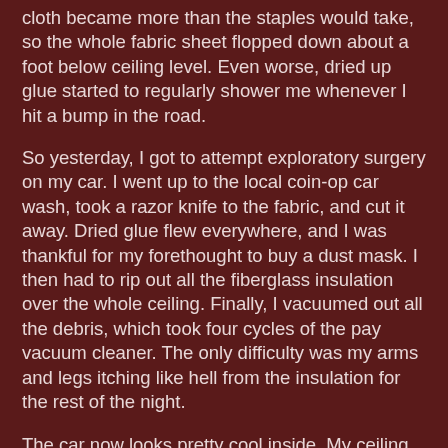cloth became more than the staples would take, so the whole fabric sheet flopped down about a foot below ceiling level. Even worse, dried up glue started to regularly shower me whenever I hit a bump in the road.
So yesterday, I got to attempt exploratory surgery on my car. I went up to the local coin-op car wash, took a razor knife to the fabric, and cut it away. Dried glue flew everywhere, and I was thankful for my forethought to buy a dust mask. I then had to rip out all the fiberglass insulation over the whole ceiling. Finally, I vacuumed out all the debris, which took four cycles of the pay vacuum cleaner. The only difficulty was my arms and legs itching like hell from the insulation for the rest of the night.
The car now looks pretty cool inside. My ceiling is down to bare metal framing, and it is uber-industrial. I fear that when we get snow, the car is going to be really friggin' cold, though, and I will have to take care not to lick it, unless I want my tongue stuck to my car roof...but I think I can manage that one.
Unfortunately, I still...